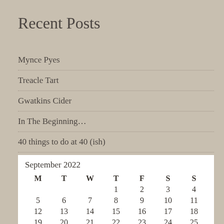Recent Posts
Mynce Pyes
Treacle Tart
Gwatkins Cider
In The Beginning…
40 things to do at 40 (ish)
| M | T | W | T | F | S | S |
| --- | --- | --- | --- | --- | --- | --- |
|  |  |  | 1 | 2 | 3 | 4 |
| 5 | 6 | 7 | 8 | 9 | 10 | 11 |
| 12 | 13 | 14 | 15 | 16 | 17 | 18 |
| 19 | 20 | 21 | 22 | 23 | 24 | 25 |
| 26 | 27 | 28 | 29 | 30 |  |  |